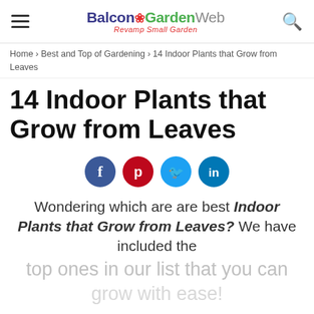Balcony Garden Web — Revamp Small Garden
Home › Best and Top of Gardening › 14 Indoor Plants that Grow from Leaves
14 Indoor Plants that Grow from Leaves
[Figure (infographic): Social sharing buttons: Facebook (dark blue circle with f), Pinterest (red circle with P), Twitter (light blue circle with bird), LinkedIn (teal circle with in)]
Wondering which are are best Indoor Plants that Grow from Leaves? We have included the top ones in our list that you can grow with ease!